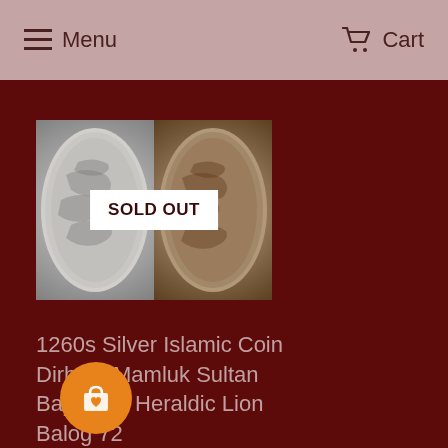Menu  Cart
[Figure (photo): Two views of a silver Islamic coin (Dirham) with Arabic inscriptions, with a SOLD OUT badge overlaid in center]
1260s Silver Islamic Coin Dirham Mamluk Sultan Baybars I Heraldic Lion Balog 72
49.99